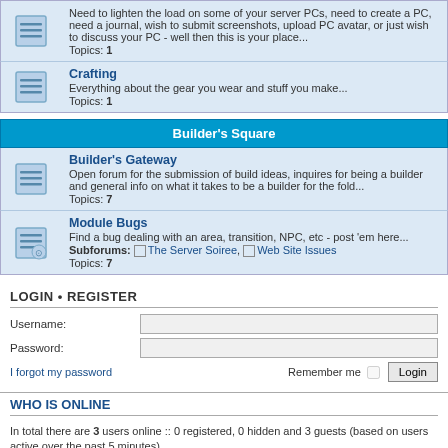Need to lighten the load on some of your server PCs, need to create a PC, need a journal, wish to submit screenshots, upload PC avatar, or just wish to discuss your PC - well then this is your place...
Topics: 1
Crafting
Everything about the gear you wear and stuff you make...
Topics: 1
Builder's Square
Builder's Gateway
Open forum for the submission of build ideas, inquires for being a builder and general info on what it takes to be a builder for the fold...
Topics: 7
Module Bugs
Find a bug dealing with an area, transition, NPC, etc - post 'em here...
Subforums: The Server Soiree, Web Site Issues
Topics: 7
LOGIN • REGISTER
Username:
Password:
I forgot my password
Remember me  Login
WHO IS ONLINE
In total there are 3 users online :: 0 registered, 0 hidden and 3 guests (based on users active over the past 5 minutes)